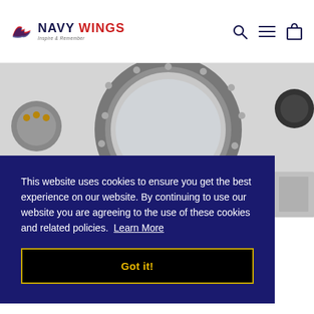[Figure (logo): Navy Wings logo with stylized wing graphic, text NAVY WINGS in dark navy and red, tagline Inspire & Remember]
[Figure (photo): Close-up photo of a circular porthole/aircraft component (metallic ring/bearing) mounted on a light grey surface, with other metal components visible to the sides]
This website uses cookies to ensure you get the best experience on our website. By continuing to use our website you are agreeing to the use of these cookies and related policies.  Learn More
Got it!